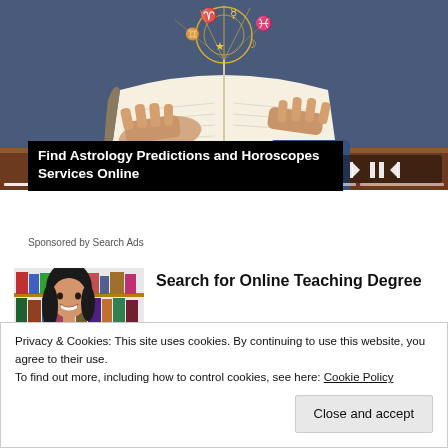[Figure (photo): Person holding open book with glowing astrological symbols rising from pages, dark blue background with media player controls and progress bar overlay]
Find Astrology Predictions and Horoscopes Services Online
Sponsored by Search Ads
[Figure (photo): Young woman with dark hair smiling in front of bookshelf]
Search for Online Teaching Degree
Privacy & Cookies: This site uses cookies. By continuing to use this website, you agree to their use.
To find out more, including how to control cookies, see here: Cookie Policy
Close and accept